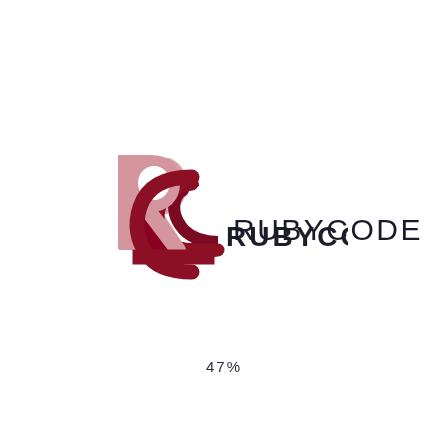[Figure (logo): RUBYCODE company logo consisting of overlapping R and C letterforms in rose/pink and dark crimson/maroon colors, with the wordmark RUBYCODE in dark charcoal sans-serif text to the right]
47%